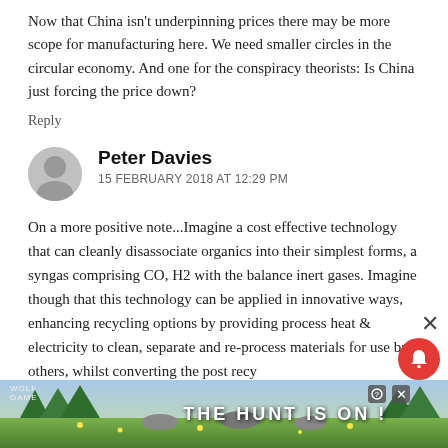Now that China isn't underpinning prices there may be more scope for manufacturing here. We need smaller circles in the circular economy. And one for the conspiracy theorists: Is China just forcing the price down?
Reply
Peter Davies
15 FEBRUARY 2018 AT 12:29 PM
On a more positive note...Imagine a cost effective technology that can cleanly disassociate organics into their simplest forms, a syngas comprising CO, H2 with the balance inert gases. Imagine though that this technology can be applied in innovative ways, enhancing recycling options by providing process heat & electricity to clean, separate and re-process materials for use by others, whilst converting the post recy...
[Figure (photo): Advertisement banner showing wolves in a forest setting with text 'THE HUNT IS ON!' and 'WOLF GAME' branding]